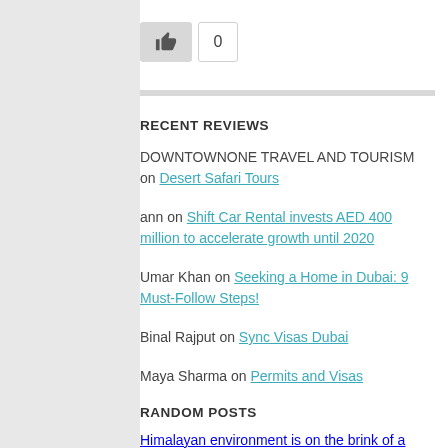[Figure (other): Like/thumbs-up button with count 0]
RECENT REVIEWS
DOWNTOWNONE TRAVEL AND TOURISM on Desert Safari Tours
ann on Shift Car Rental invests AED 400 million to accelerate growth until 2020
Umar Khan on Seeking a Home in Dubai: 9 Must-Follow Steps!
Binal Rajput on Sync Visas Dubai
Maya Sharma on Permits and Visas
RANDOM POSTS
Himalayan environment is on the brink of a